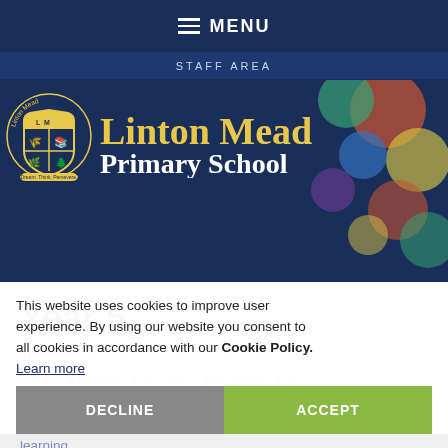MENU
STAFF AREA
[Figure (logo): Linton Mead Primary School logo with shield emblem and text 'Dream. Think. Persevere.']
Linton Mead Primary School
Year 5
Thank you for visiting our year 5 class web page. We are a creative and curious year group. We are resilient, higher order thinkers, who always endeavour to put our best effort into our learning.
We are enthusiastic about all our subjects. In
This website uses cookies to improve user experience. By using our website you consent to all cookies in accordance with our Cookie Policy. Learn more
DECLINE
ACCEPT